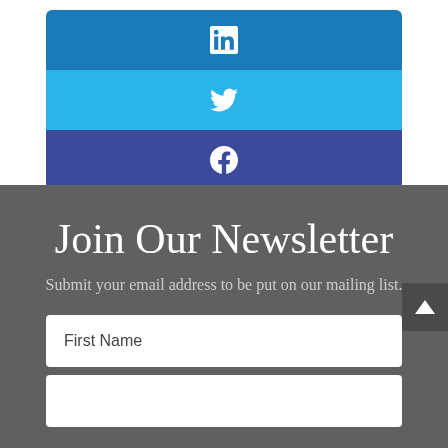[Figure (other): Social media share buttons: LinkedIn (dark blue), Twitter (light blue), Facebook (dark indigo/purple), each as a horizontal bar with centered icon]
Join Our Newsletter
Submit your email address to be put on our mailing list.
First Name